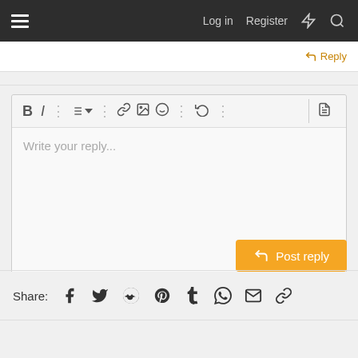☰  Log in  Register  ⚡  🔍
↩ Reply
[Figure (screenshot): Rich text editor toolbar with Bold, Italic, list, link, image, emoji, undo icons and a text area with placeholder 'Write your reply...']
[Figure (screenshot): Orange 'Post reply' button with reply arrow icon]
Share:  Facebook  Twitter  Reddit  Pinterest  Tumblr  WhatsApp  Email  Link